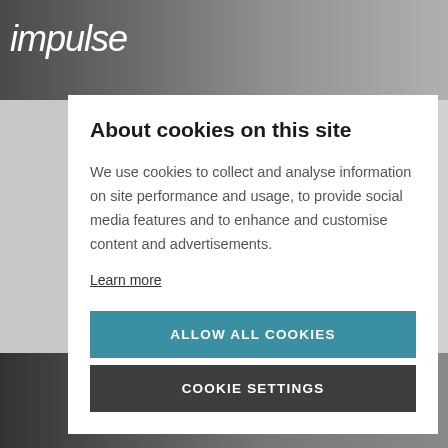[Figure (screenshot): Background website screenshot showing 'impulse' logo in top-left on dark header, with product images visible behind a cookie consent modal. Bottom shows retail/snack product images.]
About cookies on this site
We use cookies to collect and analyse information on site performance and usage, to provide social media features and to enhance and customise content and advertisements.
Learn more
ALLOW ALL COOKIES
COOKIE SETTINGS